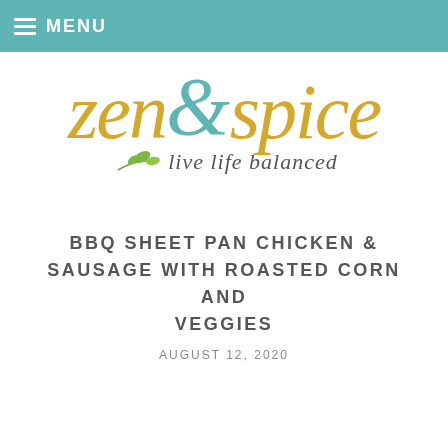MENU
[Figure (logo): Zen & Spice logo: 'zen&spice' in stylized italic text with gold and teal colors, with a small leaf illustration and tagline 'live life balanced']
BBQ SHEET PAN CHICKEN & SAUSAGE WITH ROASTED CORN AND VEGGIES
AUGUST 12, 2020